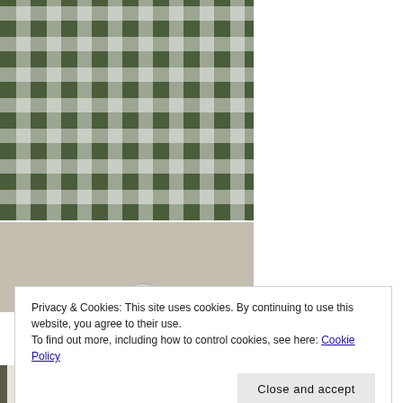[Figure (photo): Close-up photograph of a green and white plaid/checkered dress showing the bodice and skirt with fitted waist and buttons]
[Figure (photo): Partial photo of a person wearing a white bonnet/hat, only top of head visible, against a light background]
[Figure (photo): Bottom strip of another photo showing what appears to be striped fabric or clothing]
Privacy & Cookies: This site uses cookies. By continuing to use this website, you agree to their use.
To find out more, including how to control cookies, see here: Cookie Policy
Close and accept